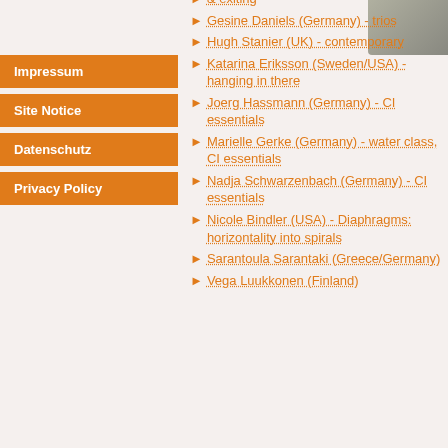& exiting
Gesine Daniels (Germany) - trios
Hugh Stanier (UK) - contemporary
Katarina Eriksson (Sweden/USA) - hanging in there
Joerg Hassmann (Germany) - CI essentials
Marielle Gerke (Germany) - water class, CI essentials
Nadja Schwarzenbach (Germany) - CI essentials
Nicole Bindler (USA) - Diaphragms: horizontality into spirals
Sarantoula Sarantaki (Greece/Germany)
Vega Luukkonen (Finland)
Impressum
Site Notice
Datenschutz
Privacy Policy